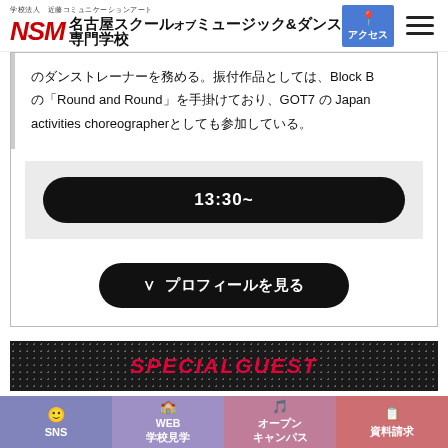学校法人 近藤コミュニケーションアート 名古屋スクールオブミュージック&ダンス専門学校
のダンストレーナーを務める。振付作品としては、Block Bの「Round and Round」を手掛けており、GOT7 の Japan activities choreographerとしても参加している。
13:30~
∨ プロフィールを見る
[Figure (other): SPECIALGUEST banner with dotted dark background and red italic text]
SNS　WEB 学校見学　オープン キャンパス　資料請求